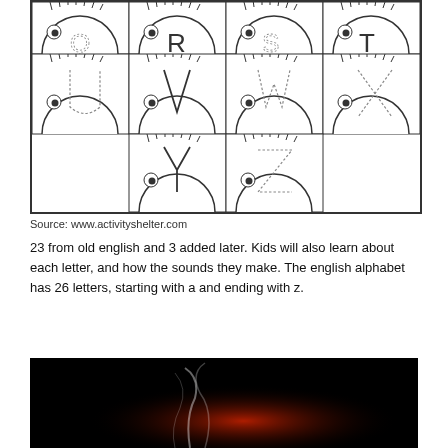[Figure (illustration): Cartoon bird/chick faces arranged in a grid showing alphabet letters U, V, W, X (second row) and Y, Z (third row, centered). Each character is a semicircle with eyelashes on top, a round eye, and a letter traced in dotted or solid lines on the body. The top row shows partial letters R, S, T.]
Source: www.activityshelter.com
23 from old english and 3 added later. Kids will also learn about each letter, and how the sounds they make. The english alphabet has 26 letters, starting with a and ending with z.
[Figure (photo): Dark/black image with red and white smoke or light wisps against a black background.]